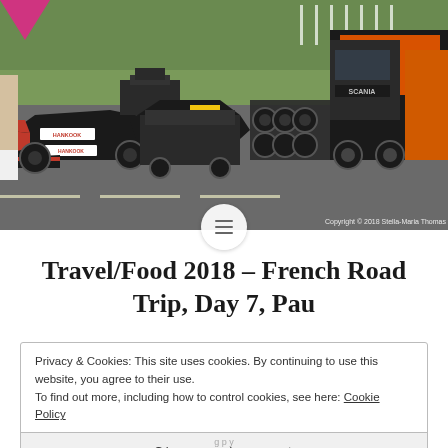[Figure (photo): Outdoor motorsport scene showing Formula cars and equipment on a track or paddock area. Several black racing cars with Hankook branding visible, along with tire racks and large trucks including a Scania truck in the background. Green grass and trees visible above. Copyright © 2018 Stella-Maria Thomas watermark in bottom right.]
Travel/Food 2018 – French Road Trip, Day 7, Pau
Privacy & Cookies: This site uses cookies. By continuing to use this website, you agree to their use.
To find out more, including how to control cookies, see here: Cookie Policy
Close and accept